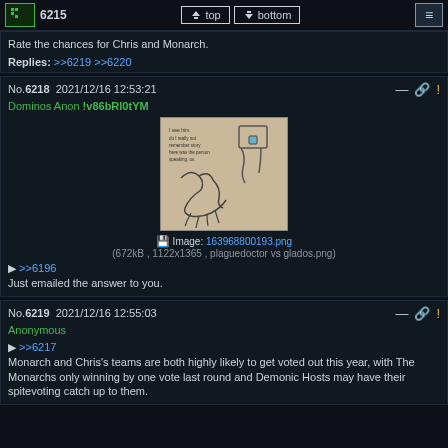6215 | top | bottom
Rate the chances for Chris and Monarch.
Replies: >>6219 >>6220
No.6218  2021/12/16 12:53:21
Dominos Anon !v86bRl0tYM
[Figure (illustration): Pencil sketch of two figures facing each other, one appears to be a plague doctor with a box-shaped head/mask, the other has claw-like hands. Text in image reads 'I see him. do I really not remember story here was the person speaking. us.']
Image: 163968800193.png
(672kB , 1122x1365 , plaguedoctor vs glados.png)
▶ >>6196
Just emailed the answer to you.
No.6219  2021/12/16 12:55:03
Anonymous
▶ >>6217
Monarch and Chris's teams are both highly likely to get voted out this year, with The Monarchs only winning by one vote last round and Demonic Hosts may have their spitevoting catch up to them.